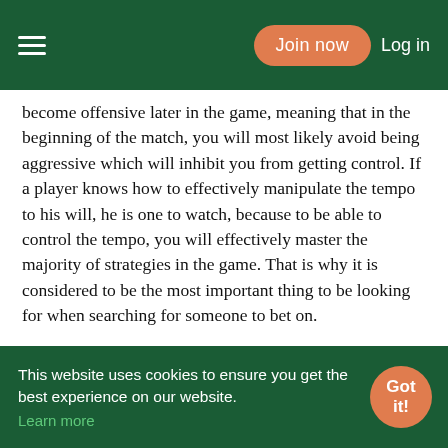Join now  Log in
become offensive later in the game, meaning that in the beginning of the match, you will most likely avoid being aggressive which will inhibit you from getting control. If a player knows how to effectively manipulate the tempo to his will, he is one to watch, because to be able to control the tempo, you will effectively master the majority of strategies in the game. That is why it is considered to be the most important thing to be looking for when searching for someone to bet on.
The second most important game aspect that potentially will bring you a lot of success as a Hearthstone gambler is the knowledge of card synergy. Having a great card synergy in your deck and knowing how to take advantage of it is really tough. Not only does it require great deck building skills but you also need to have a strategic mind in order to think several moves ahead in
This website uses cookies to ensure you get the best experience on our website. Learn more  Got it!